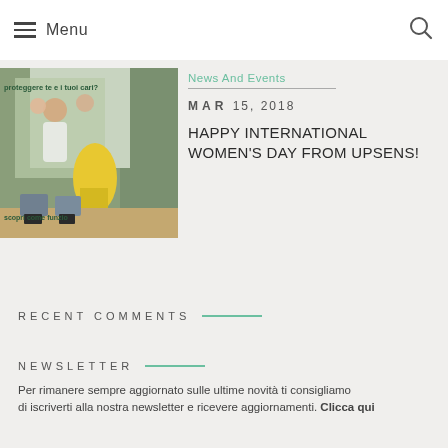Menu
[Figure (photo): Photo of a family (man, woman, child) with yellow flowers and small sensor devices on a table; Italian text overlay reads 'proteggere te e i tuoi cari?' and 'scopri come funzio']
News And Events
MAR 15, 2018
HAPPY INTERNATIONAL WOMEN'S DAY FROM UPSENS!
RECENT COMMENTS
NEWSLETTER
Per rimanere sempre aggiornato sulle ultime novità ti consigliamo di iscriverti alla nostra newsletter e ricevere aggiornamenti. Clicca qui